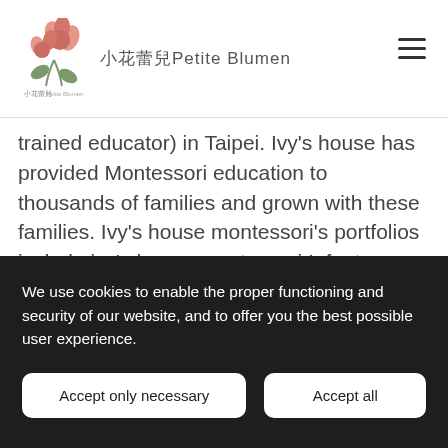小花蕾兒Petite Blumen
trained educator) in Taipei. Ivy's house has provided Montessori education to thousands of families and grown with these families. Ivy's house montessori's portfolios include ivy's house montessori Infant Daycare; ivy's house montessori kindergarten MinQuan; ivy's house montessori kindergarten LongJiang; ivy's house montessori elementary school; ivy's house life space/parent-child
We use cookies to enable the proper functioning and security of our website, and to offer you the best possible user experience.
Accept only necessary
Accept all